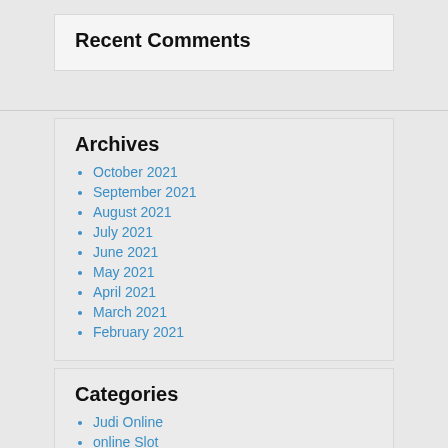Recent Comments
Archives
October 2021
September 2021
August 2021
July 2021
June 2021
May 2021
April 2021
March 2021
February 2021
Categories
Judi Online
online Slot
slot